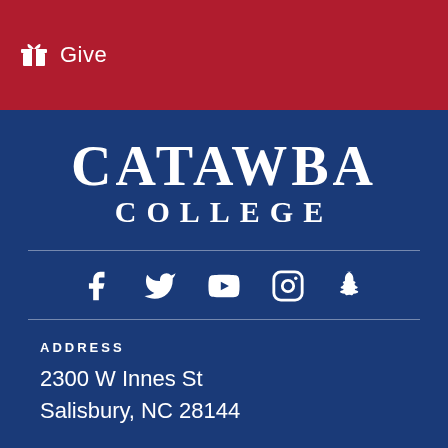Give
CATAWBA COLLEGE
[Figure (infographic): Social media icons row: Facebook, Twitter, YouTube, Instagram, Snapchat]
ADDRESS
2300 W Innes St
Salisbury, NC 28144
PHONE
1.800.CATAWBA